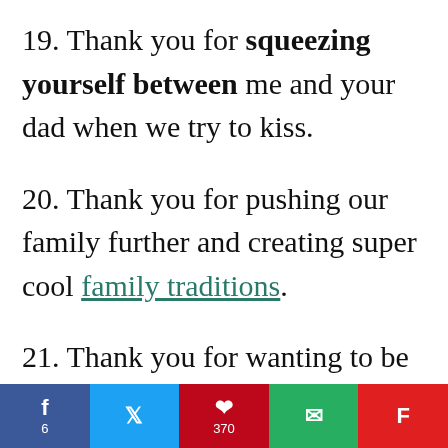19. Thank you for squeezing yourself between me and your dad when we try to kiss.
20. Thank you for pushing our family further and creating super cool family traditions.
21. Thank you for wanting to be like me. That's the best compliment I have
f 6 | [twitter icon] | p 370 | [email icon] | [flipboard icon]